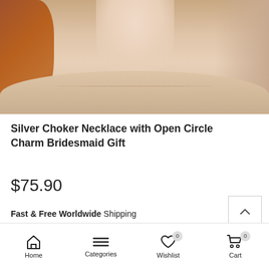[Figure (photo): Close-up photo of a person wearing a beige/nude top, showing neck and collarbone area with visible seam at neckline. Red/auburn hair visible on the left side.]
Silver Choker Necklace with Open Circle Charm Bridesmaid Gift
$75.90
Fast & Free Worldwide Shipping
Home | Categories | Wishlist 0 | Cart 0